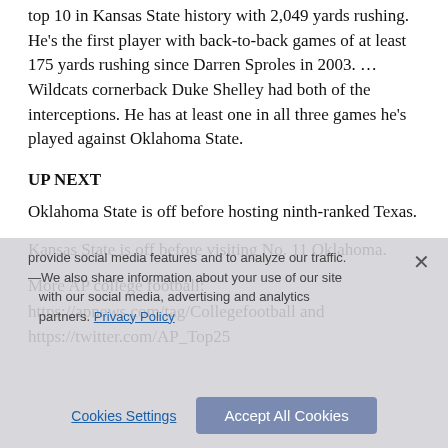top 10 in Kansas State history with 2,049 yards rushing. He’s the first player with back-to-back games of at least 175 yards rushing since Darren Sproles in 2003. … Wildcats cornerback Duke Shelley had both of the interceptions. He has at least one in all three games he’s played against Oklahoma State.
UP NEXT
Oklahoma State is off before hosting ninth-ranked Texas.
Kansas State is off before visiting No. 11 Oklahoma.
More AP college football: https://apnews.com/tag/Collegefootball and https://twitter.com/AP_Top25